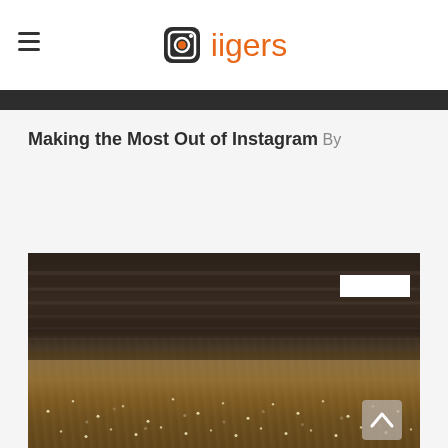iigers
Making the Most Out of Instagram
By
[Figure (photo): A crowd photo taken at what appears to be a concert or large event, with warm tones and shallow depth of field. Thousands of people visible with lights dotting the scene.]